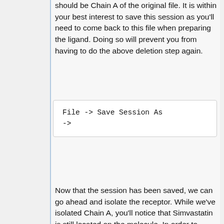should be Chain A of the original file. It is within your best interest to save this session as you'll need to come back to this file when preparing the ligand. Doing so will prevent you from having to do the above deletion step again.
Now that the session has been saved, we can go ahead and isolate the receptor. While we've isolated Chain A, you'll notice that Simvastatin is still located on the molecule. In order to remove everything besides HMGR, we need to do the following: